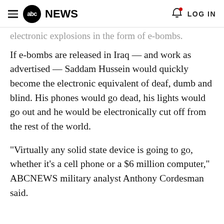≡ abc NEWS   🔔 LOG IN
electronic explosions in the form of e-bombs.
If e-bombs are released in Iraq — and work as advertised — Saddam Hussein would quickly become the electronic equivalent of deaf, dumb and blind. His phones would go dead, his lights would go out and he would be electronically cut off from the rest of the world.
"Virtually any solid state device is going to go, whether it's a cell phone or a $6 million computer," ABCNEWS military analyst Anthony Cordesman said.